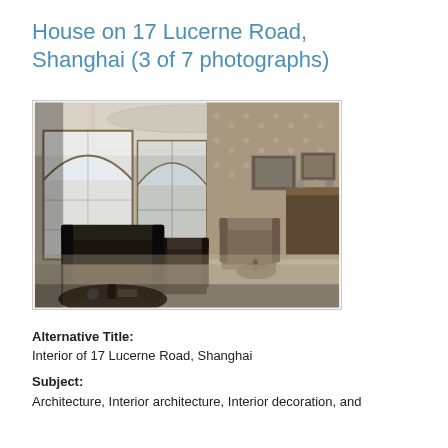House on 17 Lucerne Road, Shanghai (3 of 7 photographs)
[Figure (photo): Black and white photograph of the interior of 17 Lucerne Road, Shanghai. Shows a large living room with arched windows letting in light, ornate wallpaper, a chandelier hanging from a decorated ceiling, chairs and furniture arranged in the room, and a sideboard along the right wall. Period furniture and decor typical of early 20th century colonial style.]
Alternative Title:
Interior of 17 Lucerne Road, Shanghai
Subject:
Architecture, Interior architecture, Interior decoration, and